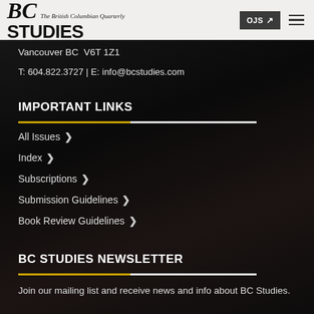BC Studies — The British Columbian Quarterly | OJS ↗ [menu]
Vancouver BC  V6T 1Z1
T: 604.822.3727 | E: info@bcstudies.com
IMPORTANT LINKS
All Issues
Index
Subscriptions
Submission Guidelines
Book Review Guidelines
BC STUDIES NEWSLETTER
Join our mailing list and receive news and info about BC Studies.